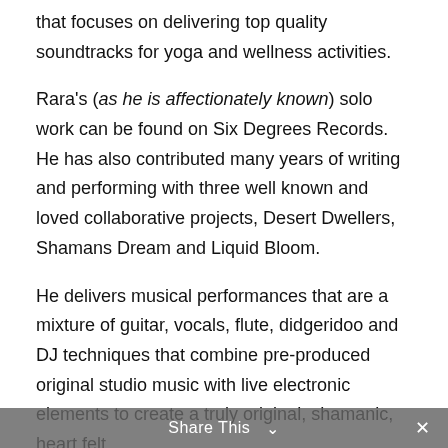that focuses on delivering top quality soundtracks for yoga and wellness activities.
Rara's (as he is affectionately known) solo work can be found on Six Degrees Records.  He has also contributed many years of writing and performing with three well known and loved collaborative projects, Desert Dwellers, Shamans Dream and Liquid Bloom.
He delivers musical performances that are a mixture of guitar, vocals, flute, didgeridoo and DJ techniques that combine pre-produced original studio music with live electronic elements to create a truly original, shamanic, heart felt
Share This ∨   ×